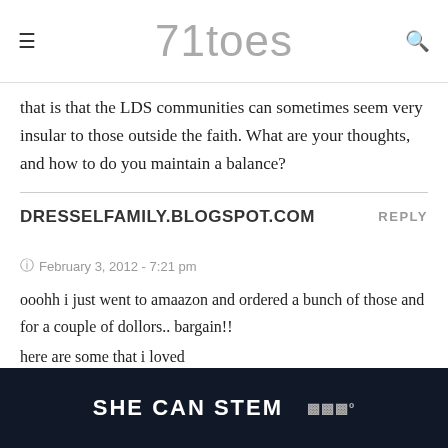71toes
that is that the LDS communities can sometimes seem very insular to those outside the faith. What are your thoughts, and how to do you maintain a balance?
DRESSELFAMILY.BLOGSPOT.COM
February 3, 2012 - 7:21 pm
ooohh i just went to amaazon and ordered a bunch of those and for a couple of dollors.. bargain!!
here are some that i loved
The book thief
Poisonwood bible
[Figure (other): SHE CAN STEM advertisement banner at the bottom of the page]